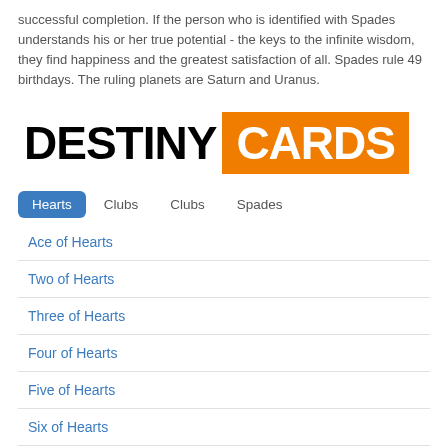successful completion. If the person who is identified with Spades understands his or her true potential - the keys to the infinite wisdom, they find happiness and the greatest satisfaction of all. Spades rule 49 birthdays. The ruling planets are Saturn and Uranus.
[Figure (logo): Destiny Cards logo: 'DESTINY' in bold black text on white background, 'CARDS' in bold white text on orange background.]
Hearts (active tab)
Clubs
Clubs
Spades
Ace of Hearts
Two of Hearts
Three of Hearts
Four of Hearts
Five of Hearts
Six of Hearts